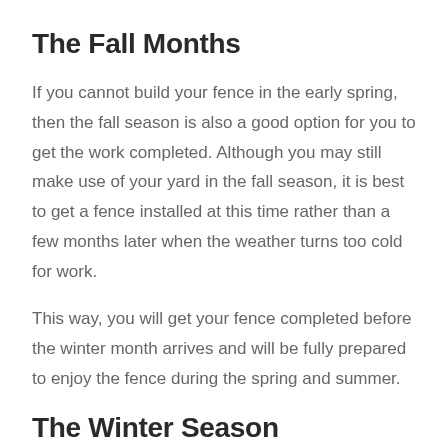The Fall Months
If you cannot build your fence in the early spring, then the fall season is also a good option for you to get the work completed. Although you may still make use of your yard in the fall season, it is best to get a fence installed at this time rather than a few months later when the weather turns too cold for work.
This way, you will get your fence completed before the winter month arrives and will be fully prepared to enjoy the fence during the spring and summer.
The Winter Season